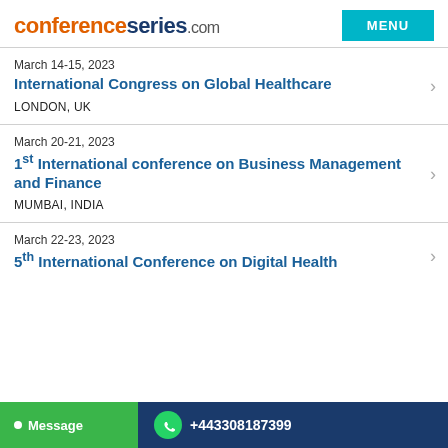conferenceseries.com
March 14-15, 2023
International Congress on Global Healthcare
LONDON, UK
March 20-21, 2023
1st International conference on Business Management and Finance
MUMBAI, INDIA
March 22-23, 2023
5th International Conference on Digital Health
Message  +443308187399